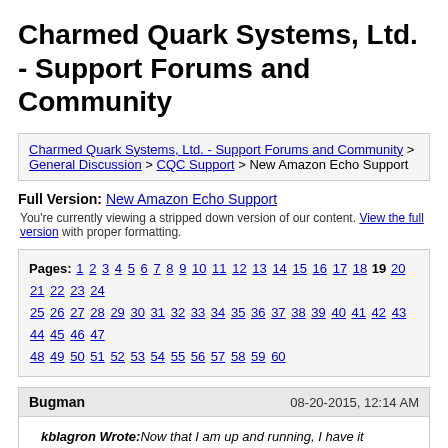Charmed Quark Systems, Ltd. - Support Forums and Community
Charmed Quark Systems, Ltd. - Support Forums and Community > General Discussion > CQC Support > New Amazon Echo Support
Full Version: New Amazon Echo Support
You're currently viewing a stripped down version of our content. View the full version with proper formatting.
Pages: 1 2 3 4 5 6 7 8 9 10 11 12 13 14 15 16 17 18 19 20 21 22 23 24 25 26 27 28 29 30 31 32 33 34 35 36 37 38 39 40 41 42 43 44 45 46 47 48 49 50 51 52 53 54 55 56 57 58 59 60
Bugman 08-20-2015, 12:14 AM
kblagron Wrote: Now that I am up and running, I have it working pretty good with a global actions and training the device based on what Echo is hearing. Haven't been doing a lot, but can now ask what the temperatures are in some of the house most rides and I have been able to set